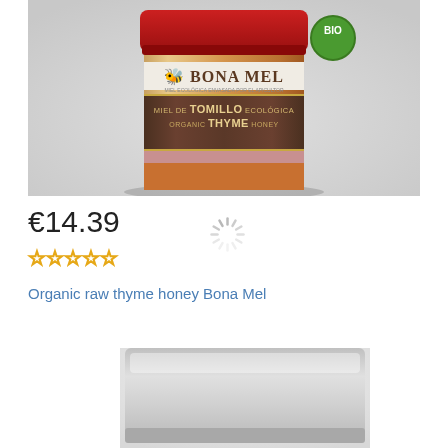[Figure (photo): Product photo of Bona Mel Organic Thyme Honey jar with red top and dark brown label reading 'MIEL DE TOMILLO ECOLÓGICA ORGANIC THYME HONEY', with a BIO organic certification badge]
€14.39
[Figure (other): Loading spinner animation]
☆☆☆☆☆ (empty star rating, 5 stars)
Organic raw thyme honey Bona Mel
[Figure (photo): Bottom portion of a second product, appears to be a silver/metallic jar lid or container]